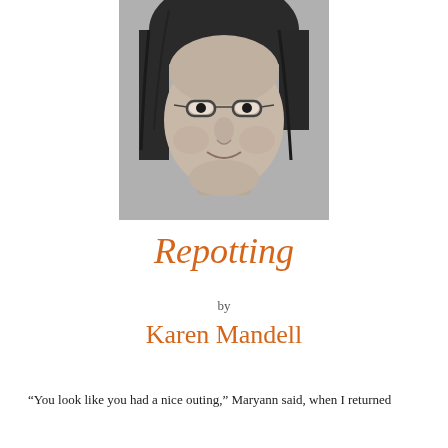[Figure (photo): Black and white portrait photograph of an older woman with glasses and dark hair]
Repotting
by
Karen Mandell
“You look like you had a nice outing,” Maryann said, when I returned